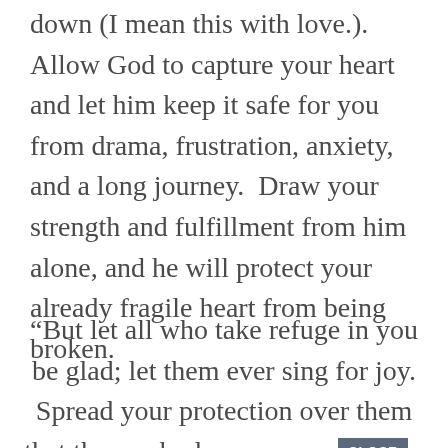down (I mean this with love.). Allow God to capture your heart and let him keep it safe for you from drama, frustration, anxiety, and a long journey.  Draw your strength and fulfillment from him alone, and he will protect your already fragile heart from being broken.
“But let all who take refuge in you be glad; let them ever sing for joy. Spread your protection over them that those who love your name may rejoice in you.” Psalm 5:11